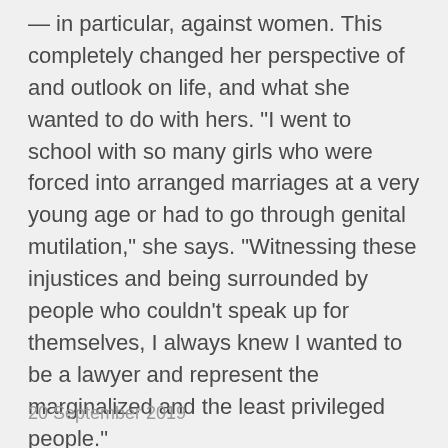— in particular, against women. This completely changed her perspective of and outlook on life, and what she wanted to do with hers. "I went to school with so many girls who were forced into arranged marriages at a very young age or had to go through genital mutilation," she says. "Witnessing these injustices and being surrounded by people who couldn't speak up for themselves, I always knew I wanted to be a lawyer and represent the marginalized and the least privileged people."
20 September 2019